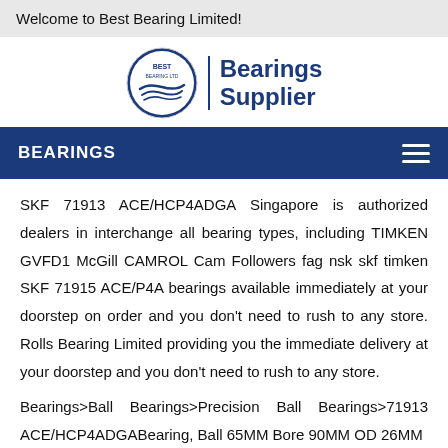Welcome to Best Bearing Limited!
[Figure (logo): Best Bearing Ltd circular logo with wave design and text 'Bearings Supplier' in dark blue]
BEARINGS
SKF 71913 ACE/HCP4ADGA Singapore is authorized dealers in interchange all bearing types, including TIMKEN GVFD1 McGill CAMROL Cam Followers fag nsk skf timken SKF 71915 ACE/P4A bearings available immediately at your doorstep on order and you don't need to rush to any store. Rolls Bearing Limited providing you the immediate delivery at your doorstep and you don't need to rush to any store.
Bearings>Ball Bearings>Precision Ball Bearings>71913 ACE/HCP4ADGABearing, Ball 65MM Bore 90MM OD 26MM